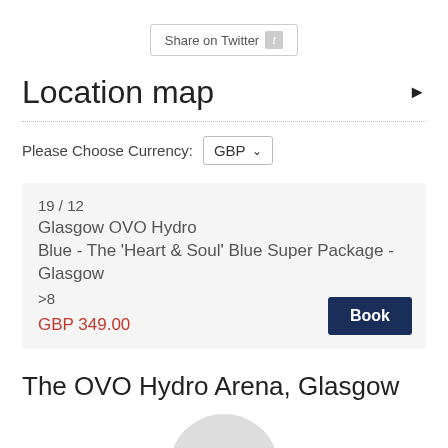[Figure (other): Share on Twitter button with Twitter bird icon]
Location map
Please Choose Currency: GBP
19 / 12
Glasgow OVO Hydro
Blue - The 'Heart & Soul' Blue Super Package - Glasgow
>8
GBP 349.00
The OVO Hydro Arena, Glasgow
[Figure (photo): Partial circular venue image placeholder at bottom]